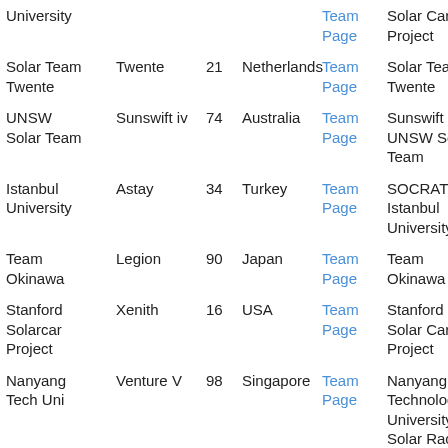| Team | Car | # | Country | Team Page | Official Name | Score |
| --- | --- | --- | --- | --- | --- | --- |
| University |  |  |  | Team Page | Solar Car Project |  |
| Solar Team Twente | Twente | 21 | Netherlands | Team Page | Solar Team Twente | 552 |
| UNSW Solar Team | Sunswift iv | 74 | Australia | Team Page | Sunswift - UNSW Solar Team | 551 |
| Istanbul University | Astay | 34 | Turkey | Team Page | SOCRAT - Istanbul University | 481 |
| Team Okinawa | Legion | 90 | Japan | Team Page | Team Okinawa | 473 |
| Stanford Solarcar Project | Xenith | 16 | USA | Team Page | Stanford Solar Car Project | 418 |
| Nanyang Tech Uni | Venture V | 98 | Singapore | Team Page | Nanyang Technological University Solar Racing Team | 418 |
| University | Schulich | 65 | Canada | Team | University of Calgary Solar... | 396 |